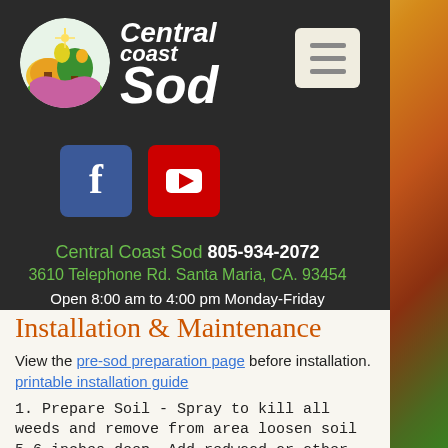[Figure (logo): Central Coast Sod logo with circular emblem showing a tree and landscape, and hamburger menu icon]
[Figure (logo): Facebook icon (blue square with white f) and YouTube icon (red square with white play button)]
Central Coast Sod 805-934-2072
3610 Telephone Rd. Santa Maria, CA. 93454
Open 8:00 am to 4:00 pm Monday-Friday
Installation & Maintenance
View the pre-sod preparation page before installation. printable installation guide
1. Prepare Soil - Spray to kill all weeds and remove from area loosen soil 5-6 inches deep. Add redwood or other compost to hold moisture. Grade - Smooth and level all surfaces to be